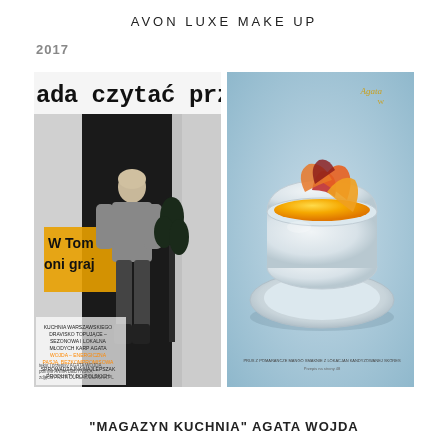AVON LUXE MAKE UP
2017
[Figure (photo): Two side-by-side magazine images: left is a black-and-white photo of a woman standing in a doorway with Polish text overlay reading 'ada czytać przy jedz' at top and 'W Tom oni graj' on yellow background, with small body text listing food-related Polish phrases; right is a color food photography image of a yellow dessert/pudding in a white ramekin on a blue plate against a light blue background, with small Polish text at bottom.]
"MAGAZYN KUCHNIA" AGATA WOJDA